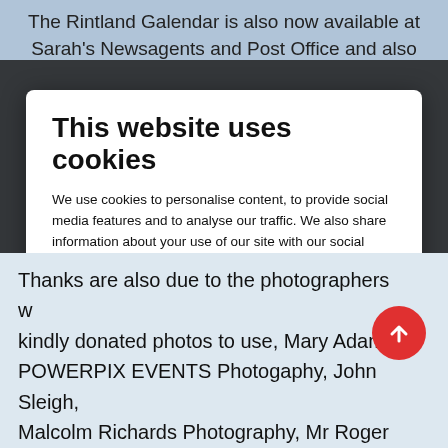The Rintland Galendar is also now available at Sarah's Newsagents and Post Office and also
This website uses cookies
We use cookies to personalise content, to provide social media features and to analyse our traffic. We also share information about your use of our site with our social media and analytics partners who may combine it with other information that you've provided to them or that they've collected from your use of their services. You consent to our cookies if you continue to use our website.
Allow selection | Allow all cookies
Necessary  Preferences  Statistics  Marketing  | Show details
Thanks are also due to the photographers who kindly donated photos to use, Mary Adams POWERPIX EVENTS Photogaphy, John Sleigh, Malcolm Richards Photography, Mr Roger Penn, Mr Wells Bridge and Naboath Museum of